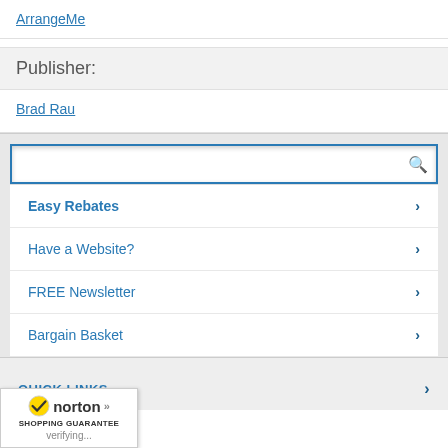ArrangeMe
Publisher:
Brad Rau
[Figure (screenshot): Search bar with blue border and magnifying glass icon]
Easy Rebates
Have a Website?
FREE Newsletter
Bargain Basket
QUICK LINKS
[Figure (logo): Norton Shopping Guarantee badge with checkmark and verifying text]